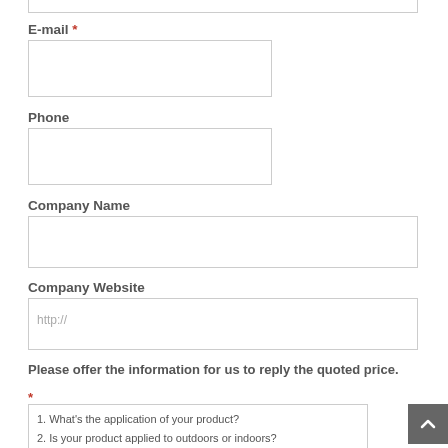E-mail *
Phone
Company Name
Company Website
http://
Please offer the information for us to reply the quoted price.
*
1. What's the application of your product?
2. Is your product applied to outdoors or indoors?
3. What the substrate of raw materials do you need?
4. What types of our products are you interested in?